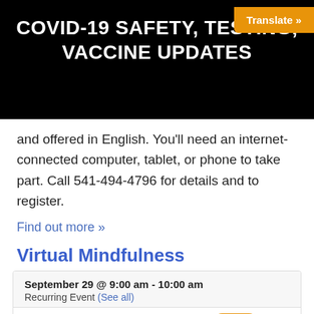COVID-19 SAFETY, TESTING, VACCINE UPDATES
and offered in English. You'll need an internet-connected computer, tablet, or phone to take part. Call 541-494-4796 for details and to register.
Find out more »
Virtual Mindfulness
| Date | Time | Recurrence | Location |
| --- | --- | --- | --- |
| September 29 | 9:00 am - 10:00 am | Recurring Event (See all) | Virtual |
[Figure (other): Orange rounded square button with white upward arrow icon]